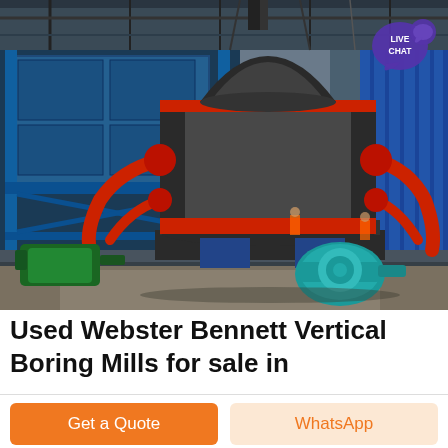[Figure (photo): Industrial vertical boring mill machine installed inside a large factory/warehouse. A large cylindrical dark metal grinding/milling machine dominates the center, with red mechanical arms/levers on each side. Blue industrial steel structure on the left, blue corrugated metal wall on the right. Green motor on the lower left. Teal/cyan pump or motor on the lower right. Workers in orange vests visible in the background. A 'LIVE CHAT' badge with speech bubble icon is overlaid in the upper right corner.]
Used Webster Bennett Vertical Boring Mills for sale in
Get a Quote
WhatsApp